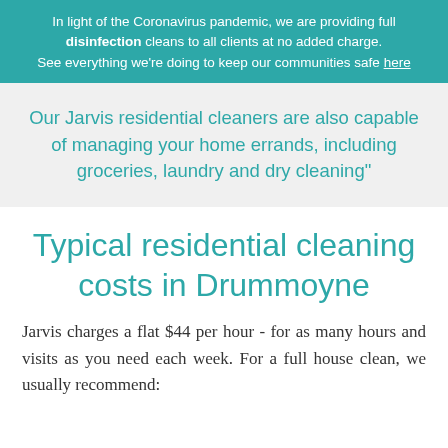In light of the Coronavirus pandemic, we are providing full disinfection cleans to all clients at no added charge. See everything we're doing to keep our communities safe here
Our Jarvis residential cleaners are also capable of managing your home errands, including groceries, laundry and dry cleaning"
Typical residential cleaning costs in Drummoyne
Jarvis charges a flat $44 per hour - for as many hours and visits as you need each week. For a full house clean, we usually recommend: